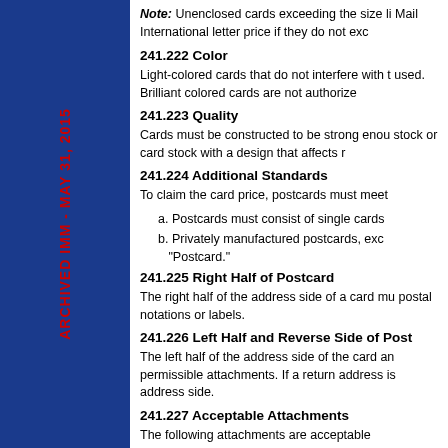ARCHIVED IMM - MAY 31, 2015
Note: Unenclosed cards exceeding the size li Mail International letter price if they do not exc
241.222 Color
Light-colored cards that do not interfere with the used. Brilliant colored cards are not authorized
241.223 Quality
Cards must be constructed to be strong enough stock or card stock with a design that affects m
241.224 Additional Standards
To claim the card price, postcards must meet
a. Postcards must consist of single cards
b. Privately manufactured postcards, exc "Postcard."
241.225 Right Half of Postcard
The right half of the address side of a card mu postal notations or labels.
241.226 Left Half and Reverse Side of Post
The left half of the address side of the card an permissible attachments. If a return address is address side.
241.227 Acceptable Attachments
The following attachments are acceptable...